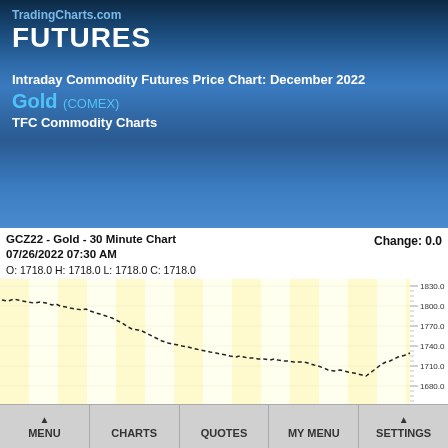TradingCharts.com FUTURES
Intraday Commodity Futures Price Chart: December 2022
Gold (COMEX)
TFC Commodity Charts
[Figure (continuous-plot): GCZ22 Gold 30 Minute Chart intraday price line chart showing gold futures price from approximately 1830 declining to around 1690 then recovering slightly. Date: 07/26/2022 07:30 AM. O: 1718.0 H: 1718.0 L: 1718.0 C: 1718.0. Change: 0.0. Y-axis labels: 1830.0, 1800.0, 1770.0, 1740.0, 1710.0, 1680.0, 1650.0. Volume bar chart below showing Volume: 1. Volume axis shows 270.]
MENU  CHARTS  QUOTES  MY MENU  SETTINGS